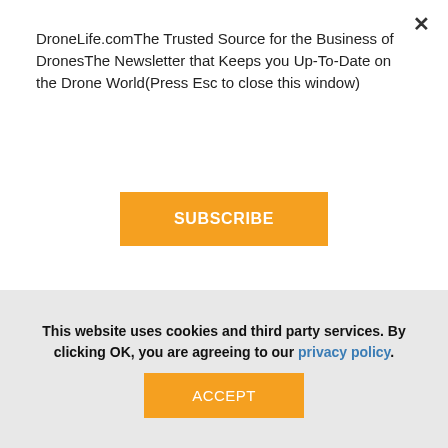DroneLife.comThe Trusted Source for the Business of DronesThe Newsletter that Keeps you Up-To-Date on the Drone World(Press Esc to close this window)
SUBSCRIBE
See also:
Drone Industry Aids Red Cross in Hurricane Harvey Response
[Figure (photo): Headshot of a bald man wearing glasses and a dark turtleneck, smiling, in front of a stone wall background]
This website uses cookies and third party services. By clicking OK, you are agreeing to our privacy policy.
ACCEPT